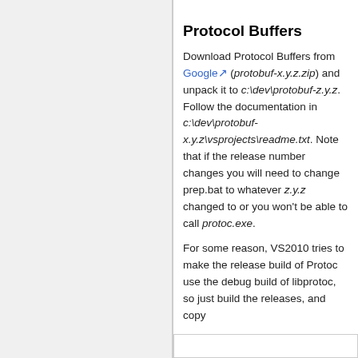Protocol Buffers
Download Protocol Buffers from Google (protobuf-x.y.z.zip) and unpack it to c:\dev\protobuf-z.y.z. Follow the documentation in c:\dev\protobuf-x.y.z\vsprojects\readme.txt. Note that if the release number changes you will need to change prep.bat to whatever z.y.z changed to or you won't be able to call protoc.exe.
For some reason, VS2010 tries to make the release build of Protoc use the debug build of libprotoc, so just build the releases, and copy